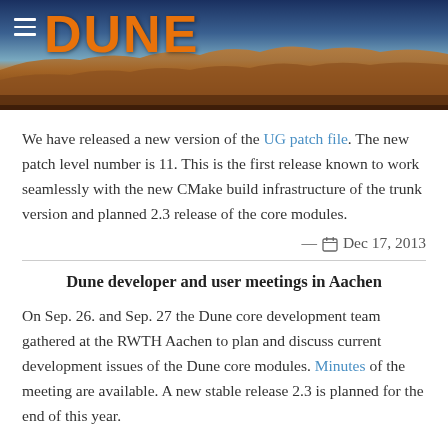[Figure (photo): DUNE project header banner with landscape/desert background and orange DUNE logo text, with hamburger menu icon]
We have released a new version of the UG patch file. The new patch level number is 11. This is the first release known to work seamlessly with the new CMake build infrastructure of the trunk version and planned 2.3 release of the core modules.
— 📅 Dec 17, 2013
Dune developer and user meetings in Aachen
On Sep. 26. and Sep. 27 the Dune core development team gathered at the RWTH Aachen to plan and discuss current development issues of the Dune core modules. Minutes of the meeting are available. A new stable release 2.3 is planned for the end of this year.